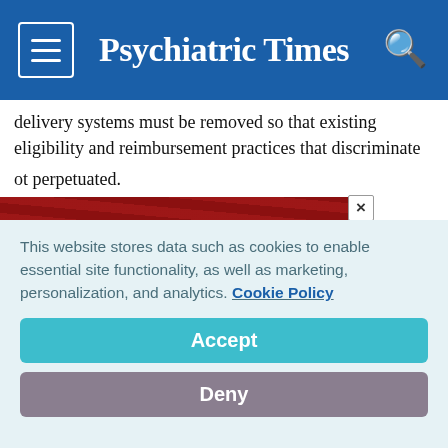Psychiatric Times
delivery systems must be removed so that existing eligibility and reimbursement practices that discriminate [against people with mental illness are n]ot perpetuated. [People with mental illness must] have full civil [rights including equal] access to [housing, employment, educa]tion, income [support, and rights to live in the] community. [Federal and state] funding must be
[Figure (infographic): Advertisement overlay: Real World Solutions To Running Your Practice More Efficiently — Get Expert Insights! with a dark red background and a close button.]
This website stores data such as cookies to enable essential site functionality, as well as marketing, personalization, and analytics. Cookie Policy
Accept
Deny